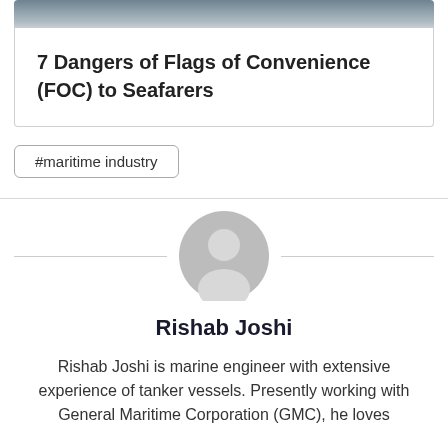[Figure (photo): Top portion of an article card showing a ship/vessel on water, partially cropped]
7 Dangers of Flags of Convenience (FOC) to Seafarers
#maritime industry
[Figure (photo): Generic user avatar icon — grey circle with silhouette of a person]
Rishab Joshi
Rishab Joshi is marine engineer with extensive experience of tanker vessels. Presently working with General Maritime Corporation (GMC), he loves